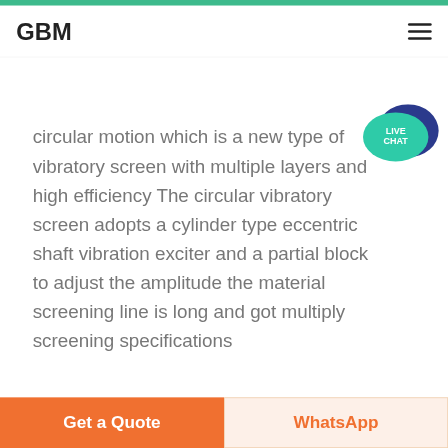GBM
circular motion which is a new type of vibratory screen with multiple layers and high efficiency The circular vibratory screen adopts a cylinder type eccentric shaft vibration exciter and a partial block to adjust the amplitude the material screening line is long and got multiply screening specifications
Get Price
rock crusher achievement torchlight 2
Get a Quote | WhatsApp